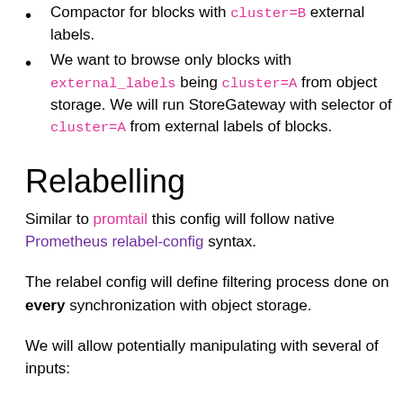Compactor for blocks with cluster=B external labels.
We want to browse only blocks with external_labels being cluster=A from object storage. We will run StoreGateway with selector of cluster=A from external labels of blocks.
Relabelling
Similar to promtail this config will follow native Prometheus relabel-config syntax.
The relabel config will define filtering process done on every synchronization with object storage.
We will allow potentially manipulating with several of inputs: